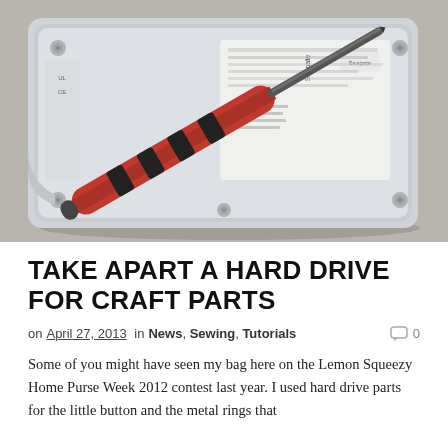[Figure (photo): A Seagate hard disk drive on a gray surface with a red and black screwdriver resting on top of it.]
TAKE APART A HARD DRIVE FOR CRAFT PARTS
on April 27, 2013 in News, Sewing, Tutorials   0
Some of you might have seen my bag here on the Lemon Squeezy Home Purse Week 2012 contest last year. I used hard drive parts for the little button and the metal rings that